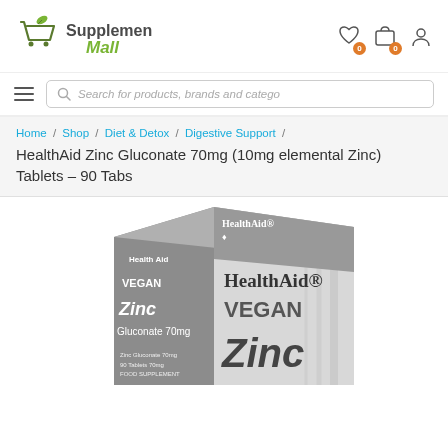[Figure (logo): Supplement Mall logo with shopping cart and leaf icon]
[Figure (screenshot): Header navigation icons: wishlist (heart with badge 0), cart (bag with badge 0), and user account icon]
[Figure (screenshot): Hamburger menu and search bar with placeholder text 'Search for products, brands and catego']
Home / Shop / Diet & Detox / Digestive Support / HealthAid Zinc Gluconate 70mg (10mg elemental Zinc) Tablets – 90 Tabs
[Figure (photo): HealthAid Vegan Zinc Gluconate 70mg product box in grayscale. Box shows 'HealthAid VEGAN Zinc' text prominently.]